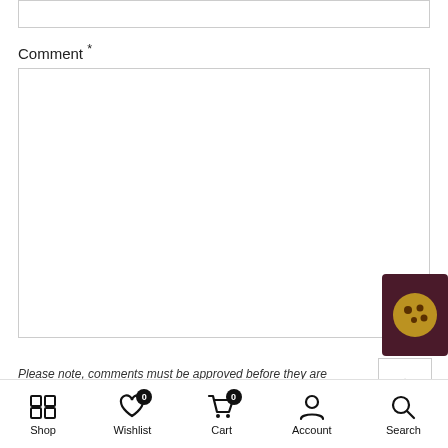Comment *
Please note, comments must be approved before they are published
Post Comment
Shop | Wishlist | Cart | Account | Search